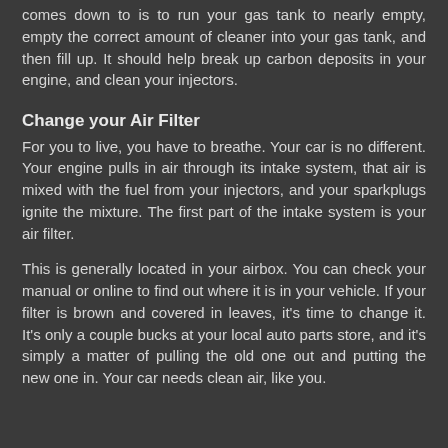comes down to is to run your gas tank to nearly empty, empty the correct amount of cleaner into your gas tank, and then fill up. It should help break up carbon deposits in your engine, and clean your injectors.
Change your Air Filter
For you to live, you have to breathe. Your car is no different. Your engine pulls in air through its intake system, that air is mixed with the fuel from your injectors, and your sparkplugs ignite the mixture. The first part of the intake system is your air filter.
This is generally located in your airbox. You can check your manual or online to find out where it is in your vehicle. If your filter is brown and covered in leaves, it's time to change it. It's only a couple bucks at your local auto parts store, and it's simply a matter of pulling the old one out and putting the new one in. Your car needs clean air, like you.